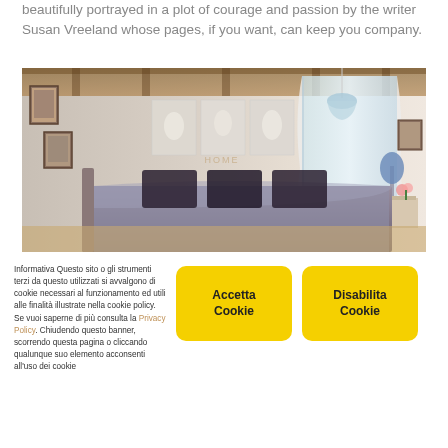beautifully portrayed in a plot of courage and passion by the writer Susan Vreeland whose pages, if you want, can keep you company.
[Figure (photo): Interior bedroom photo showing a rustic room with white textured walls, wooden ceiling beams, paintings on the wall, a bed with dark patterned pillows, sheer white curtains by a bright window, a blue lamp, and a small table with flowers.]
Informativa Questo sito o gli strumenti terzi da questo utilizzati si avvalgono di cookie necessari al funzionamento ed utili alle finalità illustrate nella cookie policy. Se vuoi saperne di più consulta la Privacy Policy. Chiudendo questo banner, scorrendo questa pagina o cliccando qualunque suo elemento acconsenti all'uso dei cookie
Accetta Cookie
Disabilita Cookie